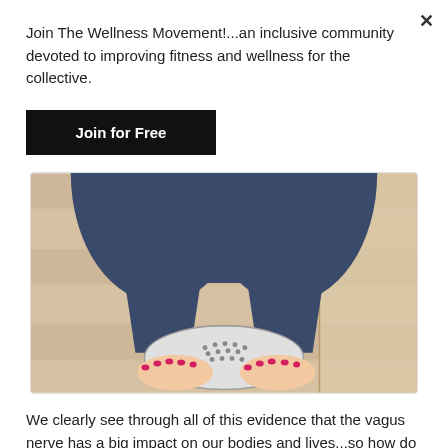Join The Wellness Movement!...an inclusive community devoted to improving fitness and wellness for the collective.
Join for Free
[Figure (photo): A top-down view of a person in dark blue leggings/jeans stepping on a white bathroom scale on a light wood floor. Feet with red painted toenails are visible.]
We clearly see through all of this evidence that the vagus nerve has a big impact on our bodies and lives...so how do